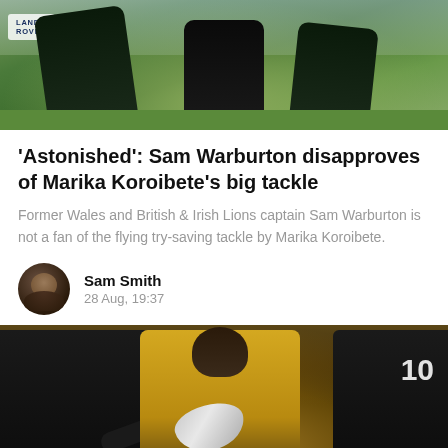[Figure (photo): Rugby players in action on a field, with a Land Rover advertisement visible, players in dark green uniforms]
'Astonished': Sam Warburton disapproves of Marika Koroibete's big tackle
Former Wales and British & Irish Lions captain Sam Warburton is not a fan of the flying try-saving tackle by Marika Koroibete.
Sam Smith
28 Aug, 19:37
[Figure (photo): Rugby player in yellow Australian Wallabies jersey wearing a scrum cap, carrying a ball, flanked by players in dark All Blacks uniforms. Number 10 visible on right.]